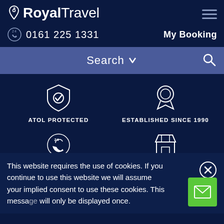[Figure (logo): Royal Travel logo with pin icon and hamburger menu icon]
0161 225 1331  My Booking
Search ∨
[Figure (infographic): Four feature icons: ATOL Protected shield, Established Since 1990 ribbon, 24x7 Customer Support phone, High Street Travel Store shop]
Top Flight Destinations
This website requires the use of cookies. If you continue to use this website we will assume your implied consent to use these cookies. This message will only be displayed once.